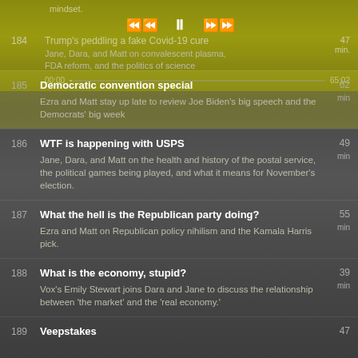[Figure (screenshot): Podcast app now-playing bar showing episode 184 Trump's peddling a fake Covid-19 cure with playback controls (rewind, pause, fast-forward), progress bar from 00:00 to 65:02, 47 min duration]
185 Democratic convention special 62 min — Ezra and Matt stay up late to review Joe Biden's big speech and the Democrats' big week
186 WTF is happening with USPS 49 min — Jane, Dara, and Matt on the health and history of the postal service, the political games being played, and what it means for November's election.
187 What the hell is the Republican party doing? 55 min — Ezra and Matt on Republican policy nihilism and the Kamala Harris pick.
188 What is the economy, stupid? 39 min — Vox's Emily Stewart joins Dara and Jane to discuss the relationship between 'the market' and the 'real economy.'
189 Veepstakes 47